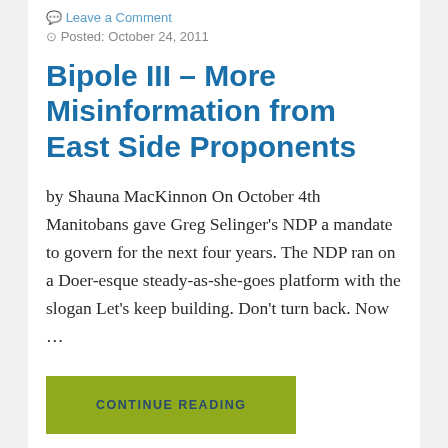Leave a Comment
Posted: October 24, 2011
Bipole III – More Misinformation from East Side Proponents
by Shauna MacKinnon On October 4th Manitobans gave Greg Selinger's NDP a mandate to govern for the next four years. The NDP ran on a Doer-esque steady-as-she-goes platform with the slogan Let's keep building. Don't turn back. Now …
CONTINUE READING